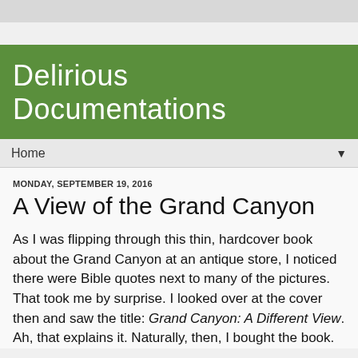Delirious Documentations
Home
MONDAY, SEPTEMBER 19, 2016
A View of the Grand Canyon
As I was flipping through this thin, hardcover book about the Grand Canyon at an antique store, I noticed there were Bible quotes next to many of the pictures. That took me by surprise. I looked over at the cover then and saw the title: Grand Canyon: A Different View. Ah, that explains it. Naturally, then, I bought the book.
[Figure (photo): Photo of the book Grand Canyon: A Different View placed among other books on a shelf, showing the book cover with a canyon image in purplish/reddish tones]